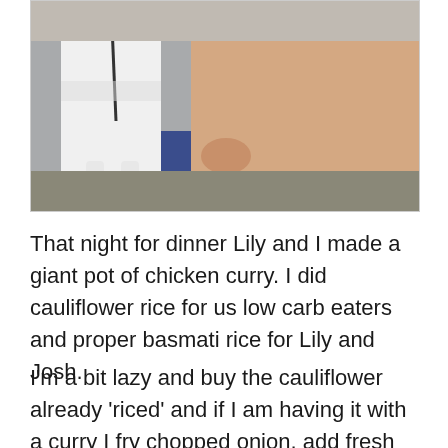[Figure (photo): Photo of a white dog/animal close-up with a person's body visible in the background, on a blue surface]
That night for dinner Lily and I made a giant pot of chicken curry. I did cauliflower rice for us low carb eaters and proper basmati rice for Lily and Josh.
I'm a bit lazy and buy the cauliflower already 'riced' and if I am having it with a curry I fry chopped onion, add fresh cilantro/coriander and spices then add the cauliflower so it has more fl…